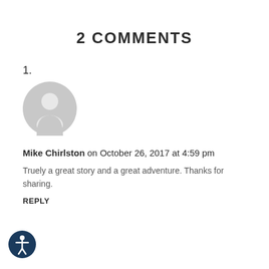2 COMMENTS
1.
[Figure (illustration): Generic gray user avatar icon — circular silhouette of a person]
Mike Chirlston on October 26, 2017 at 4:59 pm
Truely a great story and a great adventure. Thanks for sharing.
REPLY
[Figure (logo): Accessibility icon — white person figure with circle arms inside a dark navy blue circle]